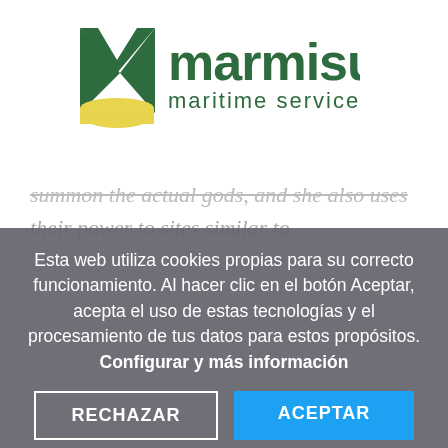[Figure (logo): Marmisur maritime services logo with green M shape and yellow wave, green text 'marmisur maritime services']
summon the actual gods, and she also uses their power to sites similar to
Esta web utiliza cookies propias para su correcto funcionamiento. Al hacer clic en el botón Aceptar, acepta el uso de estas tecnologías y el procesamiento de tus datos para estos propósitos. Configurar y más información
RECHAZAR
ACEPTAR